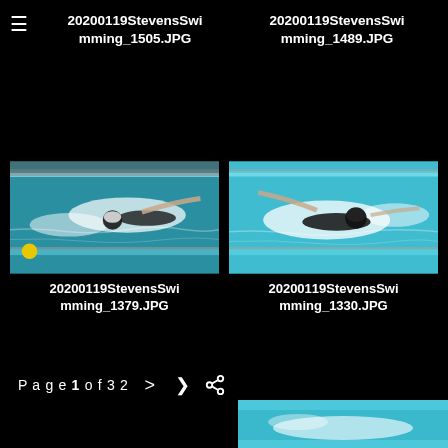≡  20200119StevensSwimming_1505.JPG   20200119StevensSwimming_1489.JPG
[Figure (photo): Swimming competition photo showing swimmer doing freestyle stroke in a pool with lane dividers, blue water, crowd in background. Filename: 20200119StevensSwimming_1379.JPG]
20200119StevensSwimming_1379.JPG
[Figure (photo): Swimming competition photo showing swimmer doing butterfly stroke in a pool with blue water and lane dividers. Filename: 20200119StevensSwimming_1330.JPG]
20200119StevensSwimming_1330.JPG
Page 1 of 32  >  <
[Figure (photo): Partial swimming competition photo visible at the bottom right corner of the page.]